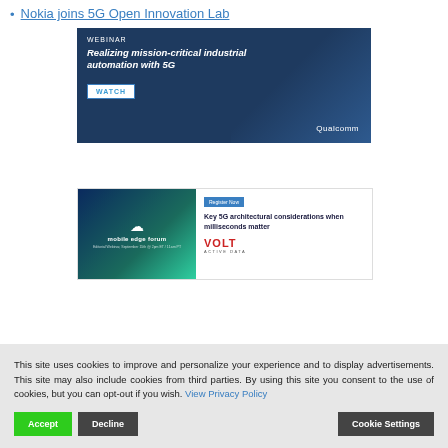Nokia joins 5G Open Innovation Lab
[Figure (illustration): Qualcomm webinar banner: 'WEBINAR - Realizing mission-critical industrial automation with 5G' with a WATCH button and Qualcomm branding, dark blue background with silhouette of person]
[Figure (illustration): Mobile edge forum banner with 'Register Now' button, 'Key 5G architectural considerations when milliseconds matter', VOLT ACTIVE DATA logo, teal/dark blue gradient left panel]
This site uses cookies to improve and personalize your experience and to display advertisements. This site may also include cookies from third parties. By using this site you consent to the use of cookies, but you can opt-out if you wish. View Privacy Policy
Accept
Decline
Cookie Settings